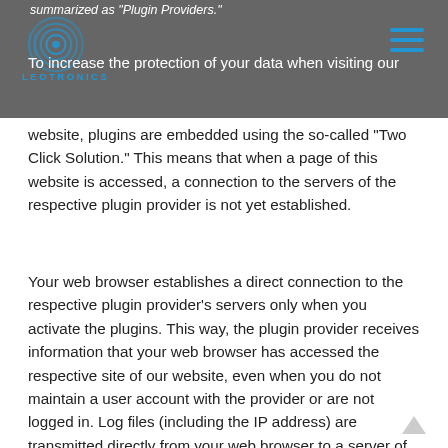summarized as "Plugin Providers."
[Figure (logo): Leotronics logo with circular fingerprint/signal graphic and blue text LEOTRONICS]
To increase the protection of your data when visiting our website, plugins are embedded using the so-called "Two Click Solution." This means that when a page of this website is accessed, a connection to the servers of the respective plugin provider is not yet established.
Your web browser establishes a direct connection to the respective plugin provider’s servers only when you activate the plugins. This way, the plugin provider receives information that your web browser has accessed the respective site of our website, even when you do not maintain a user account with the provider or are not logged in. Log files (including the IP address) are transmitted directly from your web browser to a server of the respective plugin provider and may be stored there (for further information on log files please refer to the section "Log Files"). This server may be located outside the EU or EEA (e.g. in